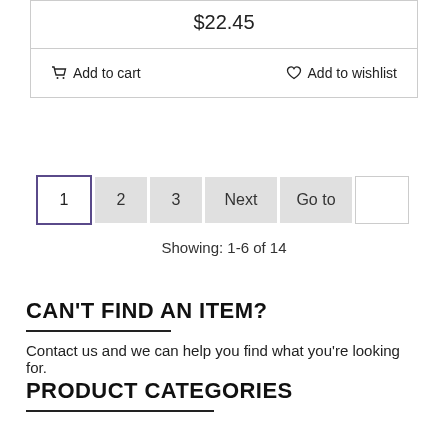$22.45
Add to cart   Add to wishlist
1  2  3  Next  Go to
Showing: 1-6 of 14
CAN'T FIND AN ITEM?
Contact us and we can help you find what you're looking for.
PRODUCT CATEGORIES